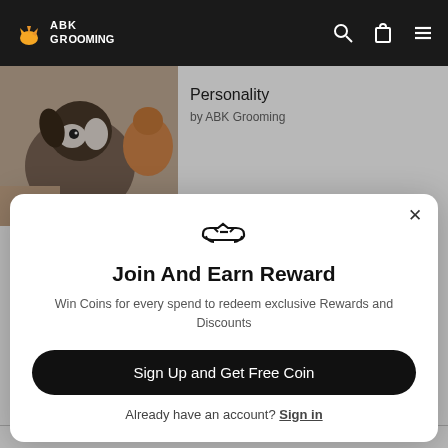ABK Grooming
[Figure (photo): A black and white dog with other animals in the background]
Personality
by ABK Grooming
Join And Earn Reward
Win Coins for every spend to redeem exclusive Rewards and Discounts
Sign Up and Get Free Coin
Already have an account? Sign in